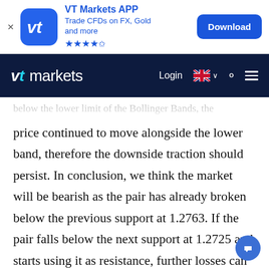[Figure (screenshot): VT Markets APP advertisement banner with blue icon showing 'vt' logo, app title 'VT Markets APP', subtitle 'Trade CFDs on FX, Gold and more', star rating (4.5 stars), and a blue 'Download' button]
[Figure (screenshot): VT Markets website navigation bar with 'vt markets' logo in white/cyan on dark navy background, Login link, UK flag language selector, search icon, and hamburger menu]
below the lower limit of the Bollinger Bands, the price continued to move alongside the lower band, therefore the downside traction should persist. In conclusion, we think the market will be bearish as the pair has already broken below the previous support at 1.2763. If the pair falls below the next support at 1.2725 and starts using it as resistance, further losses can be expected.